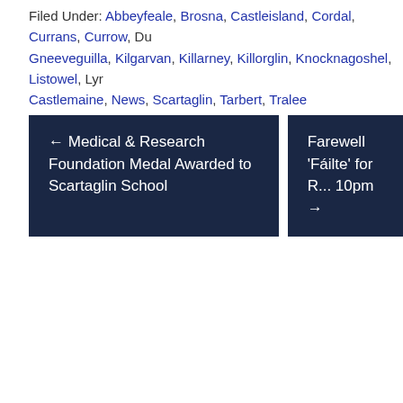Filed Under: Abbeyfeale, Brosna, Castleisland, Cordal, Currans, Currow, Du[n], Gneeveguilla, Kilgarvan, Killarney, Killorglin, Knocknagoshel, Listowel, Ly[re], Castlemaine, News, Scartaglin, Tarbert, Tralee
← Medical & Research Foundation Medal Awarded to Scartaglin School
Farewell 'Fáilte' for [R]... 10pm →